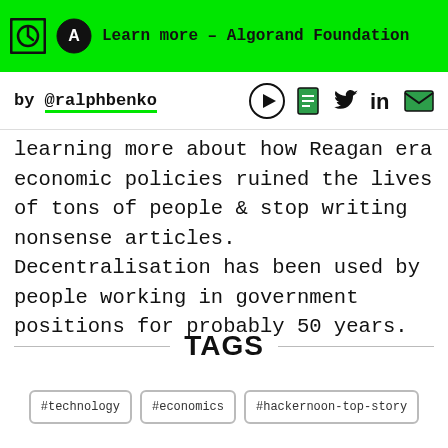Learn more – Algorand Foundation
by @ralphbenko
learning more about how Reagan era economic policies ruined the lives of tons of people & stop writing nonsense articles. Decentralisation has been used by people working in government positions for probably 50 years.
TAGS
#technology
#economics
#hackernoon-top-story